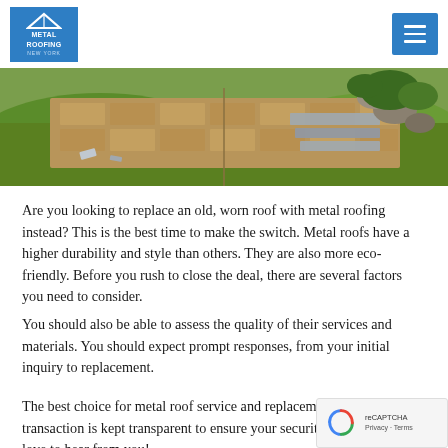Metal Roofing [logo] [menu button]
[Figure (photo): Aerial/ground-level photo of a garden area with green lawn, brick/stone patio pavers, landscaping rocks, and metal roofing panels laid on the ground]
Are you looking to replace an old, worn roof with metal roofing instead? This is the best time to make the switch. Metal roofs have a higher durability and style than others. They are also more eco-friendly. Before you rush to close the deal, there are several factors you need to consider.
You should also be able to assess the quality of their services and materials. You should expect prompt responses, from your initial inquiry to replacement.
The best choice for metal roof service and replacement us. Every transaction is kept transparent to ensure yo security. We would love to hear from you!